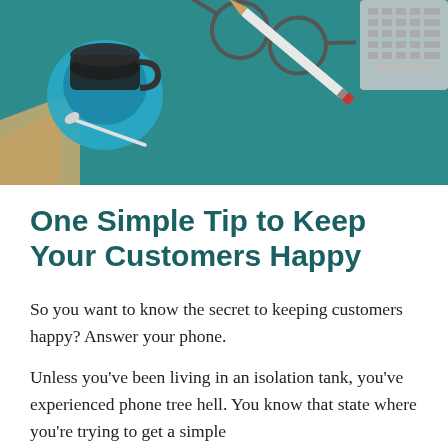[Figure (photo): Top-down view of a teal/dark green desk with a coffee cup on a blue saucer, glasses, a pen/pencil, and the edge of a laptop keyboard visible]
One Simple Tip to Keep Your Customers Happy
So you want to know the secret to keeping customers happy? Answer your phone.
Unless you've been living in an isolation tank, you've experienced phone tree hell. You know that state where you're trying to get a simple